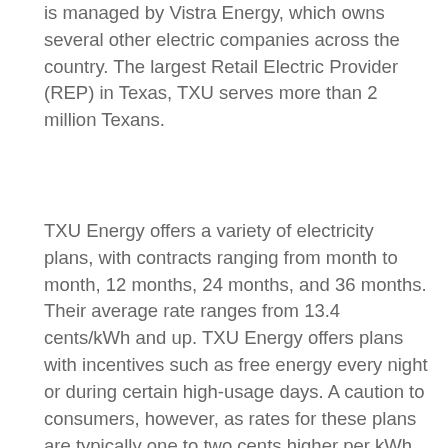is managed by Vistra Energy, which owns several other electric companies across the country. The largest Retail Electric Provider (REP) in Texas, TXU serves more than 2 million Texans.
TXU Energy offers a variety of electricity plans, with contracts ranging from month to month, 12 months, 24 months, and 36 months. Their average rate ranges from 13.4 cents/kWh and up. TXU Energy offers plans with incentives such as free energy every night or during certain high-usage days. A caution to consumers, however, as rates for these plans are typically one to two cents higher per kWh than their average advertised rates. That can add up substantially over time.